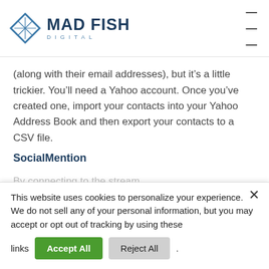[Figure (logo): Mad Fish Digital logo with diamond/fish icon and company name]
(along with their email addresses), but it’s a little trickier. You’ll need a Yahoo account. Once you’ve created one, import your contacts into your Yahoo Address Book and then export your contacts to a CSV file.
SocialMention
By connecting to the stream...
This website uses cookies to personalize your experience.
We do not sell any of your personal information, but you may accept or opt out of tracking by using these links
Accept All  Reject All